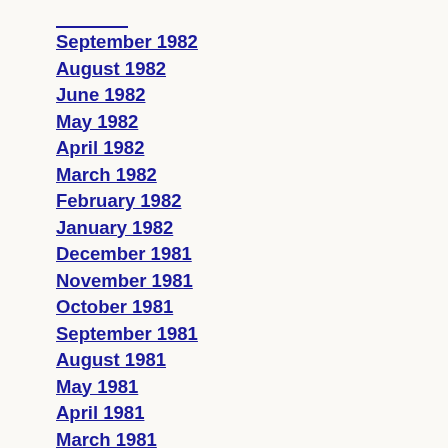September 1982
August 1982
June 1982
May 1982
April 1982
March 1982
February 1982
January 1982
December 1981
November 1981
October 1981
September 1981
August 1981
May 1981
April 1981
March 1981
February 1981
January 1981
December 1980